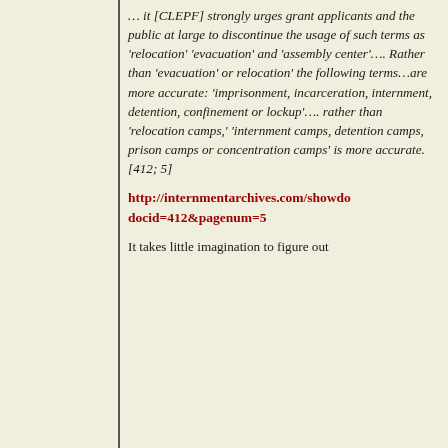… it [CLEPF] strongly urges grant applicants and the public at large to discontinue the usage of such terms as 'relocation' 'evacuation' and 'assembly center'…. Rather than 'evacuation' or relocation' the following terms…are more accurate: 'imprisonment, incarceration, internment, detention, confinement or lockup'…. rather than 'relocation camps,' 'internment camps, detention camps, prison camps or concentration camps' is more accurate. [412; 5]
http://internmentarchives.com/showdo docid=412&pagenum=5
It takes little imagination to figure out